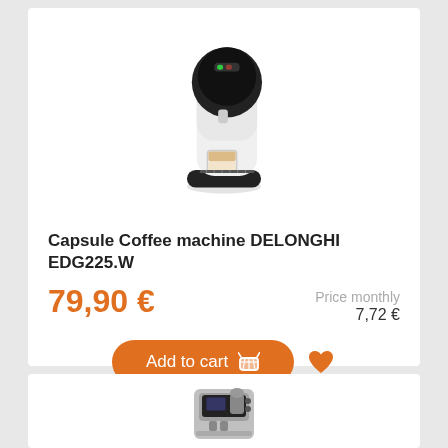[Figure (photo): Capsule coffee machine DELONGHI EDG225.W — white and black compact capsule coffee maker with a glass of latte on the drip tray]
Capsule Coffee machine DELONGHI EDG225.W
79,90 €
Price monthly 7,72 €
Add to cart
[Figure (photo): Second coffee machine (partially visible) — a larger automatic espresso machine in silver/grey at the bottom of the page]